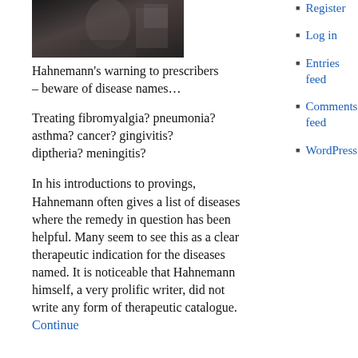[Figure (photo): Black and white photograph of a person, partially cropped at top of page]
Hahnemann's warning to prescribers – beware of disease names…
Treating fibromyalgia? pneumonia? asthma? cancer? gingivitis? diptheria? meningitis?
In his introductions to provings, Hahnemann often gives a list of diseases where the remedy in question has been helpful. Many seem to see this as a clear therapeutic indication for the diseases named. It is noticeable that Hahnemann himself, a very prolific writer, did not write any form of therapeutic catalogue. Continue
Register
Log in
Entries feed
Comments feed
WordPress.c